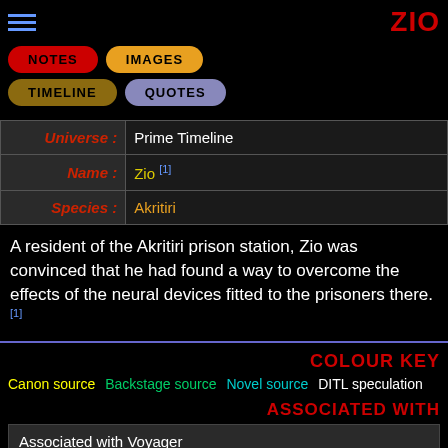ZIO
NOTES
IMAGES
TIMELINE
QUOTES
| Field | Value |
| --- | --- |
| Universe : | Prime Timeline |
| Name : | Zio [1] |
| Species : | Akritiri |
A resident of the Akritiri prison station, Zio was convinced that he had found a way to overcome the effects of the neural devices fitted to the prisoners there. [1]
COLOUR KEY
Canon source   Backstage source   Novel source   DITL speculation
ASSOCIATED WITH
Associated with Voyager
PLAYED BY